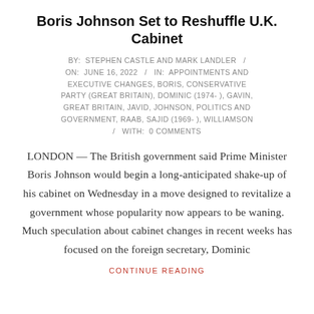Boris Johnson Set to Reshuffle U.K. Cabinet
BY: STEPHEN CASTLE AND MARK LANDLER / ON: JUNE 16, 2022 / IN: APPOINTMENTS AND EXECUTIVE CHANGES, BORIS, CONSERVATIVE PARTY (GREAT BRITAIN), DOMINIC (1974- ), GAVIN, GREAT BRITAIN, JAVID, JOHNSON, POLITICS AND GOVERNMENT, RAAB, SAJID (1969- ), WILLIAMSON / WITH: 0 COMMENTS
LONDON — The British government said Prime Minister Boris Johnson would begin a long-anticipated shake-up of his cabinet on Wednesday in a move designed to revitalize a government whose popularity now appears to be waning. Much speculation about cabinet changes in recent weeks has focused on the foreign secretary, Dominic
CONTINUE READING